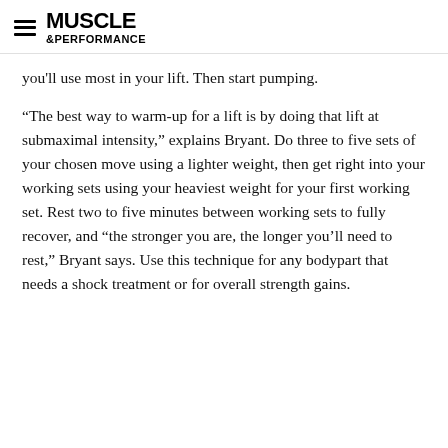MUSCLE &PERFORMANCE
you'll use most in your lift. Then start pumping.
“The best way to warm-up for a lift is by doing that lift at submaximal intensity,” explains Bryant. Do three to five sets of your chosen move using a lighter weight, then get right into your working sets using your heaviest weight for your first working set. Rest two to five minutes between working sets to fully recover, and “the stronger you are, the longer you’ll need to rest,” Bryant says. Use this technique for any bodypart that needs a shock treatment or for overall strength gains.